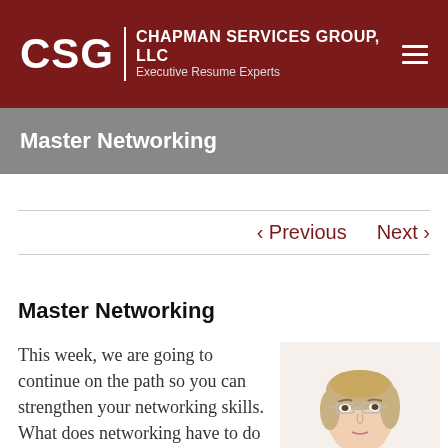CSG | CHAPMAN SERVICES GROUP, LLC — Executive Resume Experts
Master Networking
‹ Previous   Next ›
Master Networking
This week, we are going to continue on the path so you can strengthen your networking skills. What does networking have to do with finding a job or
[Figure (photo): Woman with glasses looking upward, professional headshot style photo]